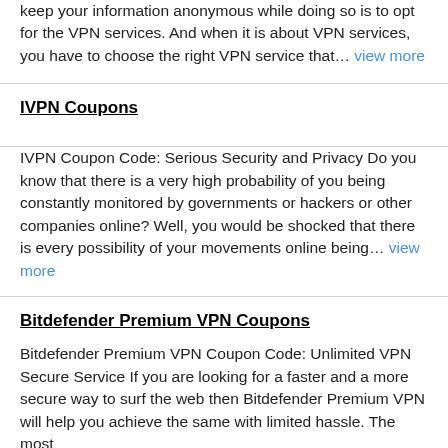keep your information anonymous while doing so is to opt for the VPN services. And when it is about VPN services, you have to choose the right VPN service that... view more
IVPN Coupons
IVPN Coupon Code: Serious Security and Privacy Do you know that there is a very high probability of you being constantly monitored by governments or hackers or other companies online? Well, you would be shocked that there is every possibility of your movements online being... view more
Bitdefender Premium VPN Coupons
Bitdefender Premium VPN Coupon Code: Unlimited VPN Secure Service If you are looking for a faster and a more secure way to surf the web then Bitdefender Premium VPN will help you achieve the same with limited hassle. The most